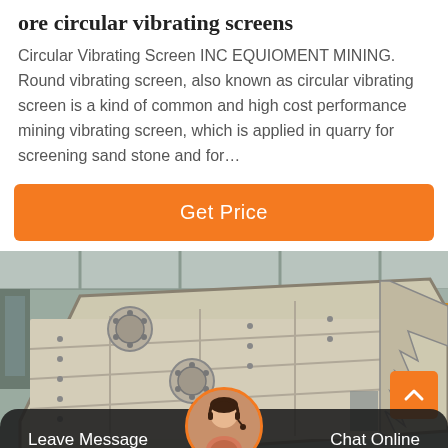ore circular vibrating screens
Circular Vibrating Screen INC EQUIOMENT MINING. Round vibrating screen, also known as circular vibrating screen is a kind of common and high cost performance mining vibrating screen, which is applied in quarry for screening sand stone and for…
[Figure (other): Orange 'Get Price' button]
[Figure (photo): Industrial circular vibrating screen machine in a factory warehouse setting]
[Figure (other): Bottom navigation bar with 'Leave Message' on the left, customer service avatar in the center, and 'Chat Online' on the right, on a dark semi-transparent background]